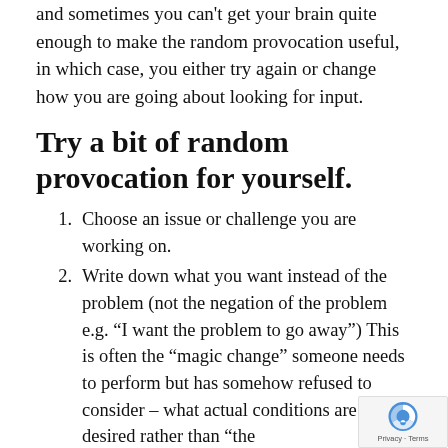and sometimes you can't get your brain quite enough to make the random provocation useful, in which case, you either try again or change how you are going about looking for input.
Try a bit of random provocation for yourself.
1. Choose an issue or challenge you are working on.
2. Write down what you want instead of the problem (not the negation of the problem e.g. “I want the problem to go away”) This is often the “magic change” someone needs to perform but has somehow refused to consider – what actual conditions are desired rather than “the